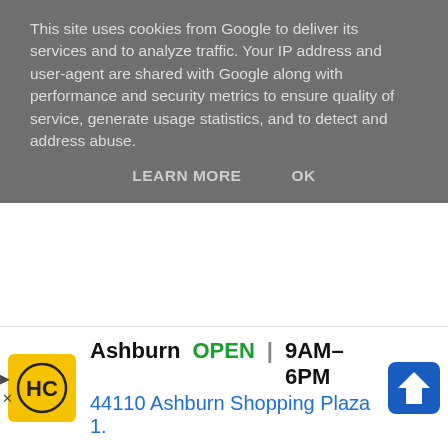This site uses cookies from Google to deliver its services and to analyze traffic. Your IP address and user-agent are shared with Google along with performance and security metrics to ensure quality of service, generate usage statistics, and to detect and address abuse.
LEARN MORE    OK
[Figure (photo): Two children wearing red/pink hooded sweatshirts, lying or leaning back, photographed from behind/side, dark background]
Another good thing about watching the how at home is you can break anytime and we toilet breaks which are important when...
Ashburn   OPEN | 9AM–6PM   44110 Ashburn Shopping Plaza 1.